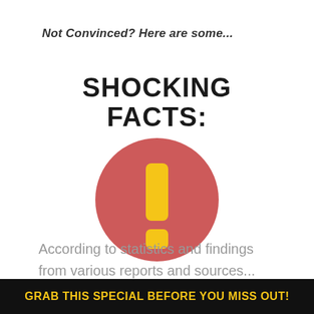Not Convinced? Here are some...
SHOCKING FACTS:
[Figure (illustration): Red circle with a yellow exclamation mark icon in the center]
According to statistics and findings from various reports and sources...
GRAB THIS SPECIAL BEFORE YOU MISS OUT!